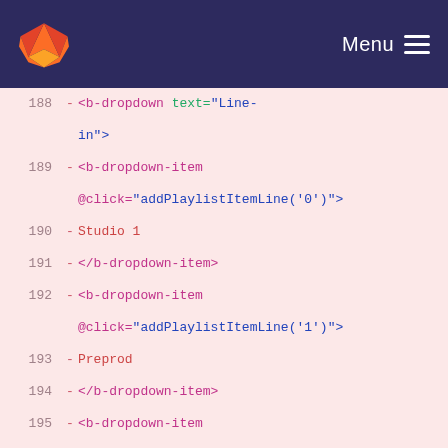GitLab navigation bar with logo and Menu
[Figure (screenshot): Code diff view showing lines 188-201 of a Vue/HTML template file with deleted lines (red background). Lines show b-dropdown and b-dropdown-item components with @click handlers for addPlaylistItemLine and addPlaylistItemStream functions.]